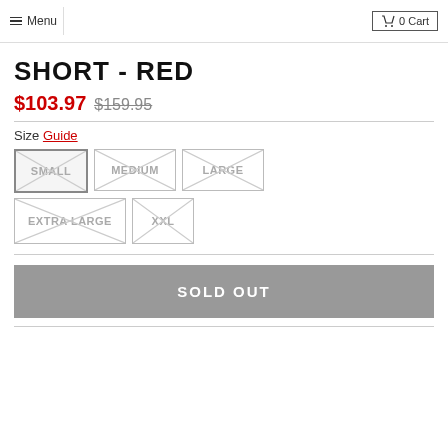Menu  0 Cart
SHORT - RED
$103.97  $159.95
Size Guide
SMALL  MEDIUM  LARGE  EXTRA LARGE  XXL
SOLD OUT